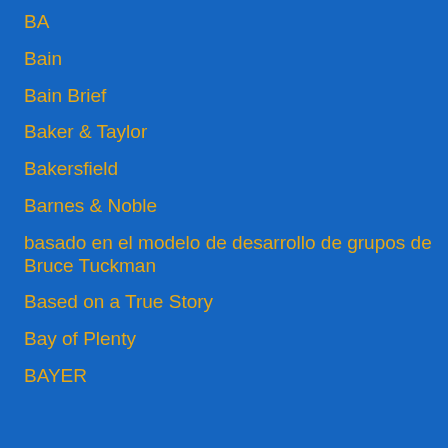BA
Bain
Bain Brief
Baker & Taylor
Bakersfield
Barnes & Noble
basado en el modelo de desarrollo de grupos de Bruce Tuckman
Based on a True Story
Bay of Plenty
BAYER